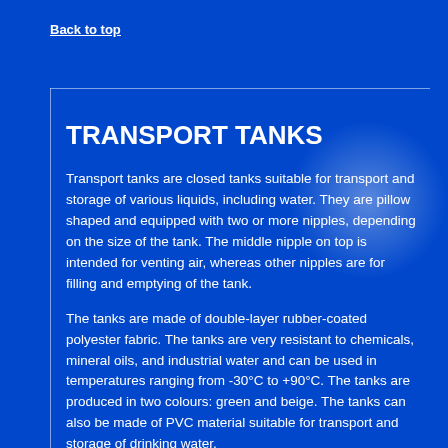Back to top
TRANSPORT TANKS
Transport tanks are closed tanks suitable for transport and storage of various liquids, including water. They are pillow shaped and equipped with two or more nipples, depending on the size of the tank. The middle nipple on top is intended for venting air, whereas other nipples are for filling and emptying of the tank.
The tanks are made of double-layer rubber-coated polyester fabric. The tanks are very resistant to chemicals, mineral oils, and industrial water and can be used in temperatures ranging from -30°C to +90°C. The tanks are produced in two colours: green and beige. The tanks can also be made of PVC material suitable for transport and storage of drinking water.